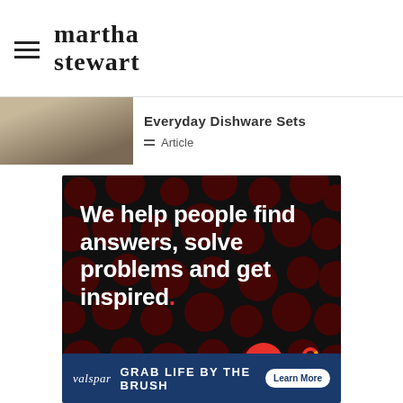martha stewart
Everyday Dishware Sets
Article
[Figure (infographic): Dotdash advertisement on black background with dark red polka dot pattern. Text reads: 'We help people find answers, solve problems and get inspired.' with 'LEARN MORE' button and Dotdash/Meredith logos.]
[Figure (infographic): Valspar advertisement on dark navy background. Text reads: 'valspar GRAB LIFE BY THE BRUSH' with 'Learn More' button.]